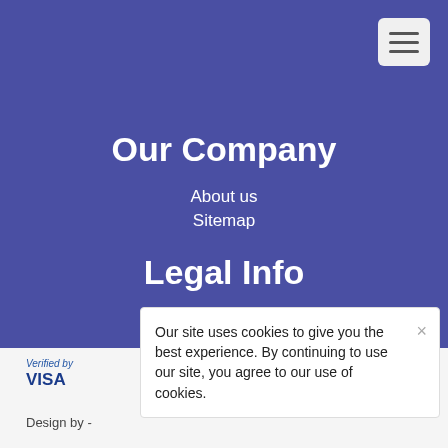[Figure (other): Hamburger menu icon button in top-right corner]
Our Company
About us
Sitemap
Legal Info
Terms and Conditions
Lamp & Tube Recycling
[Figure (logo): Secured by Astra badge with shield checkmark icon and URL bradfieldtrading.co.uk]
[Figure (logo): Verified by Visa logo]
Design by -
Our site uses cookies to give you the best experience. By continuing to use our site, you agree to our use of cookies.